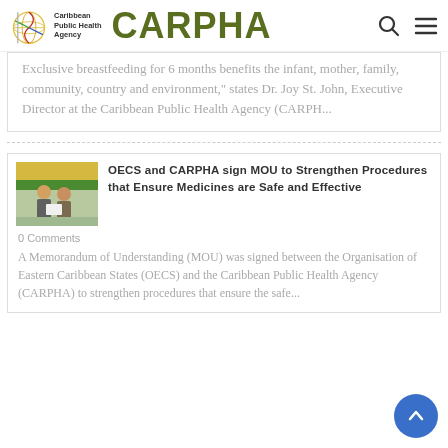Caribbean Public Health Agency | CARPHA
Exclusive breastfeeding for 6 months benefits the infant, mother, family, community, country and environment," states Dr. Joy St. John, Executive Director at the Caribbean Public Health Agency (CARPH...
[Figure (photo): Two people posing together at an event, with a green/yellow backdrop]
OECS and CARPHA sign MOU to Strengthen Procedures that Ensure Medicines are Safe and Effective
0 Comments
A Memorandum of Understanding (MOU) was signed between the Organisation of Eastern Caribbean States (OECS) and the Caribbean Public Health Agency (CARPHA) to strengthen procedures that ensure the safe...